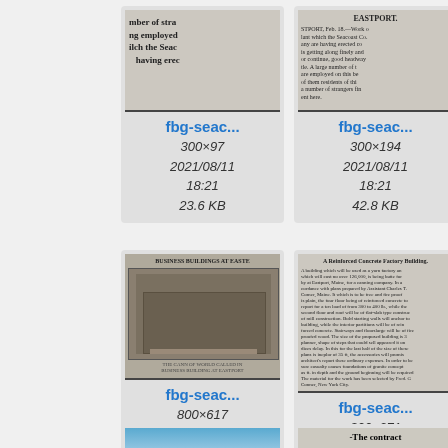[Figure (screenshot): File browser grid showing image thumbnails with filenames 'fbg-seac...' and metadata. Top row partial cards: 300x97 23.6KB 2021/08/11 18:21, 300x194 42.8KB 2021/08/11 18:21, partial third card. Middle row: 800x617 149.8KB 2021/08/11 18:33, 300x271 61.1KB 2021/08/11 19:14, partial third card. Bottom row partially visible.]